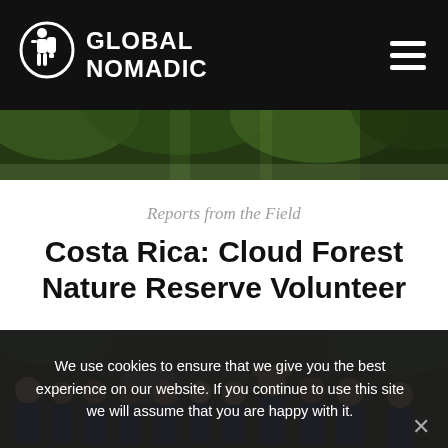GLOBAL NOMADIC
[Figure (photo): Forest/jungle green canopy banner image]
Reports from the Field
Costa Rica: Cloud Forest Nature Reserve Volunteer
[Figure (photo): Group photo of about 10 volunteers in dark navy t-shirts standing in a forested area]
We use cookies to ensure that we give you the best experience on our website. If you continue to use this site we will assume that you are happy with it.